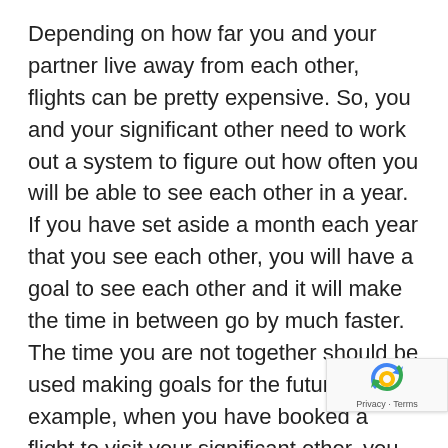Depending on how far you and your partner live away from each other, flights can be pretty expensive. So, you and your significant other need to work out a system to figure out how often you will be able to see each other in a year. If you have set aside a month each year that you see each other, you will have a goal to see each other and it will make the time in between go by much faster. The time you are not together should be used making goals for the future. For example, when you have booked a flight to visit your significant other, you can make plans to visit different places in your city together, or you can even plan it so you visit each other on your anniversaries. In a long distance relationsh